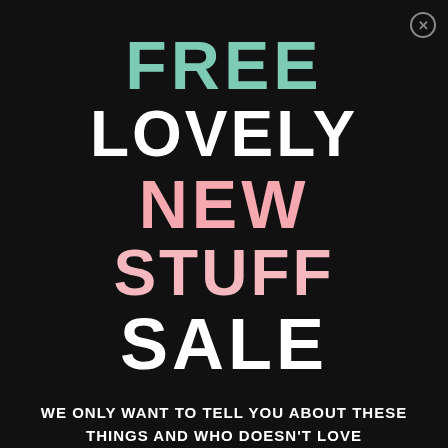FREE LOVELY NEW STUFF SALE
WE ONLY WANT TO TELL YOU ABOUT THESE THINGS AND WHO DOESN'T LOVE A DISCOUNT RIGHT?!